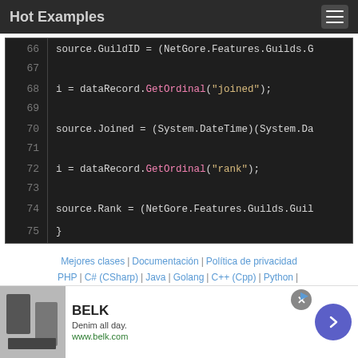Hot Examples
[Figure (screenshot): Code snippet showing C# lines 66-75 with source.GuildID, dataRecord.GetOrdinal('joined'), source.Joined, dataRecord.GetOrdinal('rank'), source.Rank, and closing brace]
Mejores clases | Documentación | Política de privacidad
PHP | C# (CSharp) | Java | Golang | C++ (Cpp) | Python |
[Figure (infographic): BELK advertisement banner: Denim all day. www.belk.com]